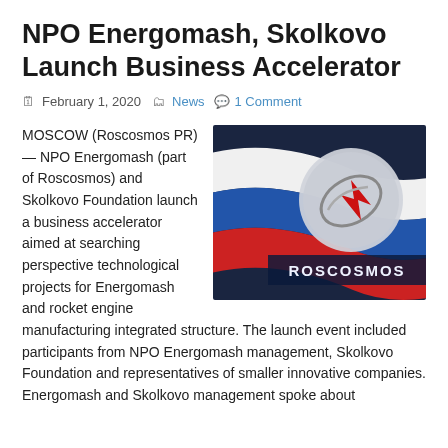NPO Energomash, Skolkovo Launch Business Accelerator
February 1, 2020  News  1 Comment
[Figure (photo): Roscosmos logo on Russian flag ribbon background with 'ROSCOSMOS' text on dark blue background]
MOSCOW (Roscosmos PR) — NPO Energomash (part of Roscosmos) and Skolkovo Foundation launch a business accelerator aimed at searching perspective technological projects for Energomash and rocket engine manufacturing integrated structure. The launch event included participants from NPO Energomash management, Skolkovo Foundation and representatives of smaller innovative companies. Energomash and Skolkovo management spoke about